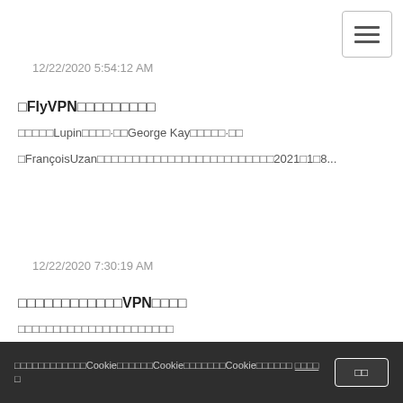12/22/2020 5:54:12 AM
□FlyVPN□□□□□□□□□
□□□□□Lupin□□□□·□□George Kay□□□□□·□□
□FrançoisUzan□□□□□□□□□□□□□□□□□□□□□□□□□2021□1□8...
12/22/2020 7:30:19 AM
□□□□□□□□□□□□VPN□□□□
□□□□□□□□□□□□□□□□□□□□□□ □□□□□□□□□□□□□□□□□□□□□□□□□□□□□□□□□
□□□□□□□□□□□□□□□□□□□□□□□□□□□□□□□□□□□□□□□□□ □ ...
□□□□□□□□□□□□Cookie□□□□□□Cookie□□□□□□□Cookie□□□□□□ □□□□ □